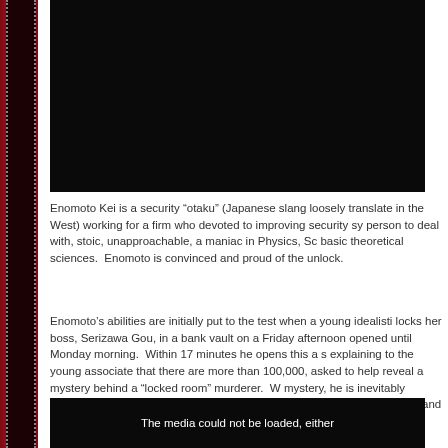[Figure (photo): Dark photograph showing a person, mostly in shadow, wearing formal attire (white shirt/collar visible), dark background]
Enomoto Kei is a security “otaku” (Japanese slang loosely translate in the West) working for a firm who devoted to improving security sy person to deal with, stoic, unapproachable, a maniac in Physics, Sc basic theoretical sciences.  Enomoto is convinced and proud of the unlock.
Enomoto’s abilities are initially put to the test when a young idealisti locks her boss, Serizawa Gou, in a bank vault on a Friday afternoon opened until Monday morning.  Within 17 minutes he opens this a s explaining to the young associate that there are more than 100,000, asked to help reveal a mystery behind a “locked room” murderer.  W mystery, he is inevitably intrigued by the term, “Locked Room” and c side by side with Aoto Junko and Serizawa Gou, who are lawyers w Enomoto’s abilities to solve the “locked room” crimes, Senzawa is g a locked room experts-though the real brains behind the mysteries i
[Figure (photo): Dark image with white text overlay reading 'The media could not be loaded, either']